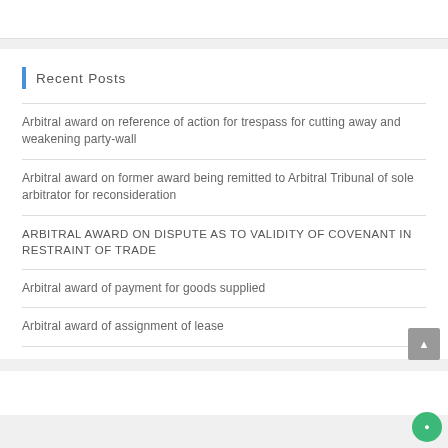Recent Posts
Arbitral award on reference of action for trespass for cutting away and weakening party-wall
Arbitral award on former award being remitted to Arbitral Tribunal of sole arbitrator for reconsideration
ARBITRAL AWARD ON DISPUTE AS TO VALIDITY OF COVENANT IN RESTRAINT OF TRADE
Arbitral award of payment for goods supplied
Arbitral award of assignment of lease